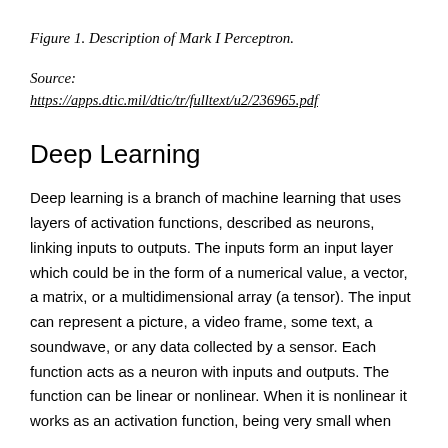Figure 1. Description of Mark I Perceptron.
Source:
https://apps.dtic.mil/dtic/tr/fulltext/u2/236965.pdf
Deep Learning
Deep learning is a branch of machine learning that uses layers of activation functions, described as neurons, linking inputs to outputs. The inputs form an input layer which could be in the form of a numerical value, a vector, a matrix, or a multidimensional array (a tensor). The input can represent a picture, a video frame, some text, a soundwave, or any data collected by a sensor. Each function acts as a neuron with inputs and outputs. The function can be linear or nonlinear. When it is nonlinear it works as an activation function, being very small when